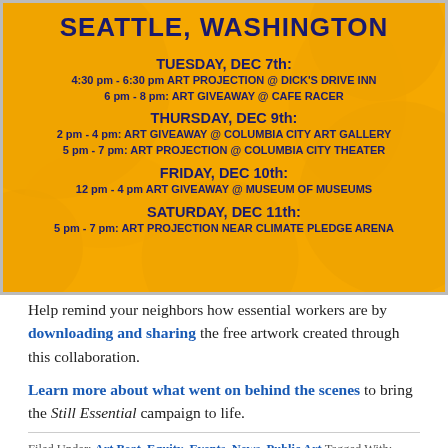[Figure (infographic): Event poster on golden/yellow background with dark blue text. Title reads SEATTLE, WASHINGTON. Lists events: Tuesday Dec 7th, Thursday Dec 9th, Friday Dec 10th, Saturday Dec 11th with times and locations for Art Projection and Art Giveaway events.]
Help remind your neighbors how essential workers are by downloading and sharing the free artwork created through this collaboration.
Learn more about what went on behind the scenes to bring the Still Essential campaign to life.
Filed Under: Art Beat, Equity, Events, News, Public Art Tagged With: adam jabari, amplifier, artwork, coronavirus, COVID-19, essential workers, jennifer loomis, noire nettiban, Public Art, Seattle City Light